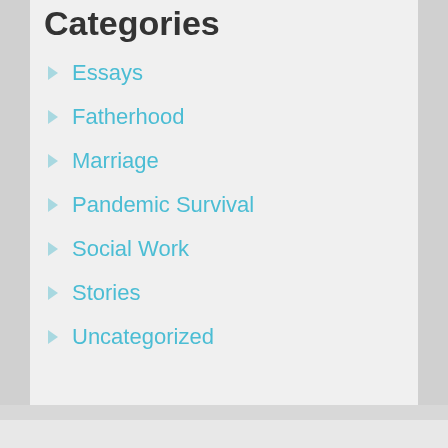Categories
Essays
Fatherhood
Marriage
Pandemic Survival
Social Work
Stories
Uncategorized